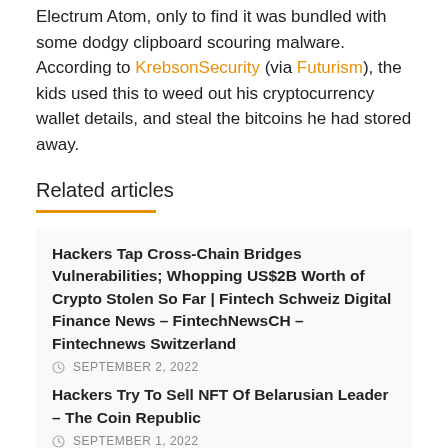Electrum Atom, only to find it was bundled with some dodgy clipboard scouring malware. According to KrebsonSecurity (via Futurism), the kids used this to weed out his cryptocurrency wallet details, and steal the bitcoins he had stored away.
Related articles
Hackers Tap Cross-Chain Bridges Vulnerabilities; Whopping US$2B Worth of Crypto Stolen So Far | Fintech Schweiz Digital Finance News – FintechNewsCH – Fintechnews Switzerland
SEPTEMBER 2, 2022
Hackers Try To Sell NFT Of Belarusian Leader – The Coin Republic
SEPTEMBER 1, 2022
It was as Schober tried to move his crypto hoard from one wallet to another, that the malware swapped his